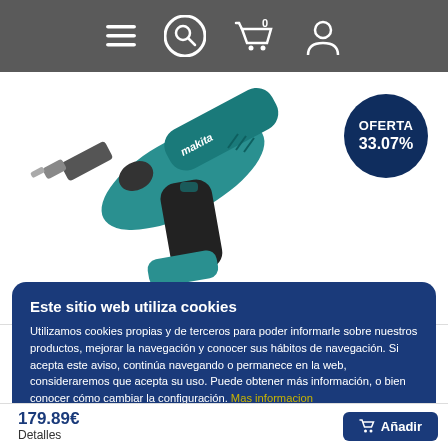Navigation bar with menu, search, cart (0 items), and user icon
[Figure (photo): Makita cordless drill/driver in teal and black color, shown on white background. A dark navy circular badge in the upper right reads OFERTA 33.07%.]
OFERTA 33.07%
Este sitio web utiliza cookies
Utilizamos cookies propias y de terceros para poder informarle sobre nuestros productos, mejorar la navegación y conocer sus hábitos de navegación. Si acepta este aviso, continúa navegando o permanece en la web, consideraremos que acepta su uso. Puede obtener más información, o bien conocer cómo cambiar la configuración. Mas informacion
Guardar
Cambiar ajustes
179.89€ Detalles
Añadir